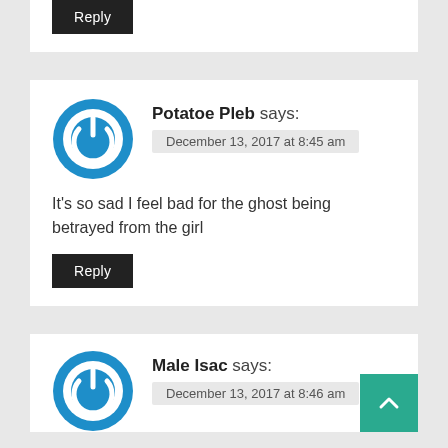[Figure (other): Reply button for previous comment (partially visible at top)]
Potatoe Pleb says:
December 13, 2017 at 8:45 am
It's so sad I feel bad for the ghost being betrayed from the girl
[Figure (other): Reply button for Potatoe Pleb comment]
Male Isac says:
December 13, 2017 at 8:46 am